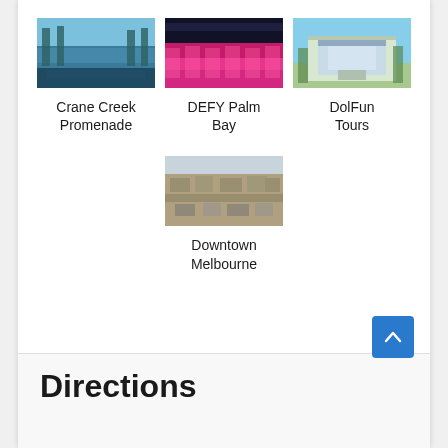[Figure (photo): Crane Creek Promenade - waterway with docks and palm trees]
Crane Creek Promenade
[Figure (photo): DEFY Palm Bay - indoor trampoline park with pink equipment]
DEFY Palm Bay
[Figure (photo): DolFun Tours - coastal house or tour location]
DolFun Tours
[Figure (photo): Downtown Melbourne - aerial view of the downtown area]
Downtown Melbourne
Directions